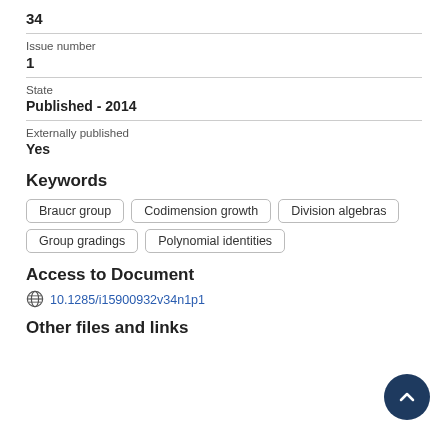34
Issue number
1
State
Published - 2014
Externally published
Yes
Keywords
Braucr group
Codimension growth
Division algebras
Group gradings
Polynomial identities
Access to Document
10.1285/i15900932v34n1p1
Other files and links